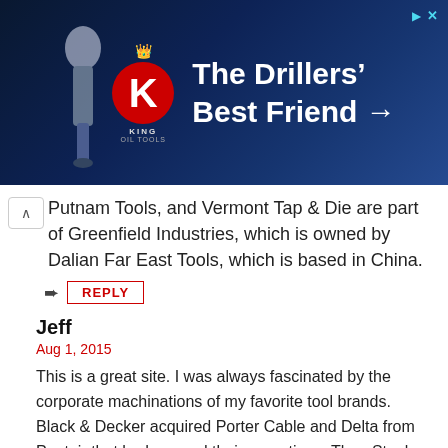[Figure (illustration): King Oil Tools advertisement banner with dark blue background, red K logo with crown, text reading 'The Drillers' Best Friend →']
Putnam Tools, and Vermont Tap & Die are part of Greenfield Industries, which is owned by Dalian Far East Tools, which is based in China.
REPLY
Jeff
Aug 1, 2015
This is a great site. I was always fascinated by the corporate machinations of my favorite tool brands.
Black & Decker acquired Porter Cable and Delta from Pentair that had merged their operations. Then Stanley bought B & D and the first thing they did was sell Delta to Chang Type, who was one of